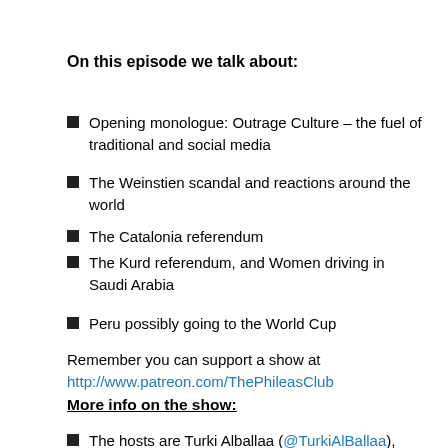On this episode we talk about:
Opening monologue: Outrage Culture – the fuel of traditional and social media
The Weinstien scandal and reactions around the world
The Catalonia referendum
The Kurd referendum, and Women driving in Saudi Arabia
Peru possibly going to the World Cup
Remember you can support a show at http://www.patreon.com/ThePhileasClub
More info on the show:
The hosts are Turki Alballaa (@TurkiAlBallaa), Wendi